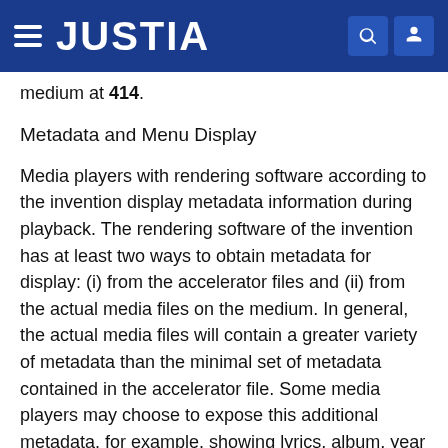JUSTIA
medium at 414.
Metadata and Menu Display
Media players with rendering software according to the invention display metadata information during playback. The rendering software of the invention has at least two ways to obtain metadata for display: (i) from the accelerator files and (ii) from the actual media files on the medium. In general, the actual media files will contain a greater variety of metadata than the minimal set of metadata contained in the accelerator file. Some media players may choose to expose this additional metadata, for example, showing lyrics, album, year or genre for music files or ‘date taken’ for still images. Media players display all alphabet, numeric characters, spaces and hyphens in metadata but may translate or omit other characters that they cannot display. For